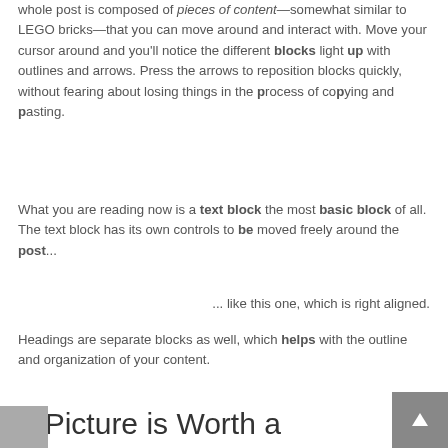whole post is composed of pieces of content—somewhat similar to LEGO bricks—that you can move around and interact with. Move your cursor around and you'll notice the different blocks light up with outlines and arrows. Press the arrows to reposition blocks quickly, without fearing about losing things in the process of copying and pasting.
What you are reading now is a text block the most basic block of all. The text block has its own controls to be moved freely around the post...
... like this one, which is right aligned.
Headings are separate blocks as well, which helps with the outline and organization of your content.
A Picture is Worth a